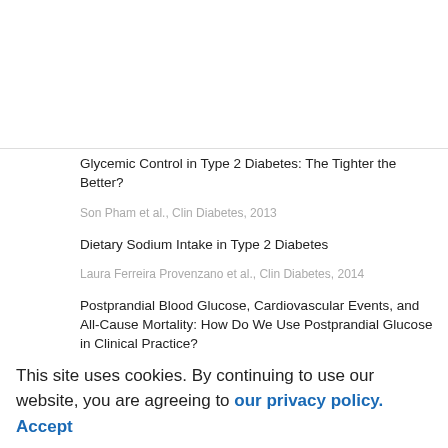Glycemic Control in Type 2 Diabetes: The Tighter the Better?
Son Pham et al., Clin Diabetes, 2013
Dietary Sodium Intake in Type 2 Diabetes
Laura Ferreira Provenzano et al., Clin Diabetes, 2014
Postprandial Blood Glucose, Cardiovascular Events, and All-Cause Mortality: How Do We Use Postprandial Glucose in Clinical Practice?
Diabetes Potpourri: Nomenclature and Glycemia
Post-diagnosis dietary insulinemic potential and...
This site uses cookies. By continuing to use our website, you are agreeing to our privacy policy. Accept